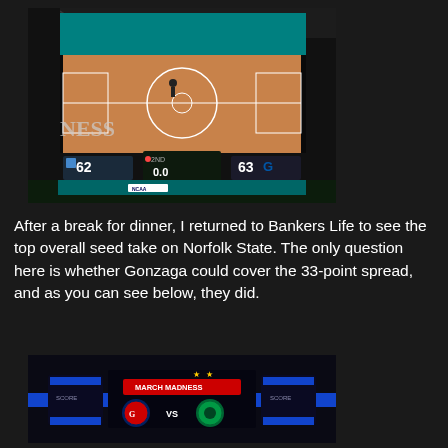[Figure (photo): Large arena scoreboard jumbotron showing a basketball game scoreboard with score 62-63, 2nd period, 0.0 time remaining. NCAA March Madness branding visible. Indoor arena with teal court visible.]
After a break for dinner, I returned to Bankers Life to see the top overall seed take on Norfolk State. The only question here is whether Gonzaga could cover the 33-point spread, and as you can see below, they did.
[Figure (photo): Arena jumbotron showing NCAA March Madness branding with Gonzaga Bulldogs logo versus Norfolk State logo, blue and black scoreboard display at Bankers Life arena.]